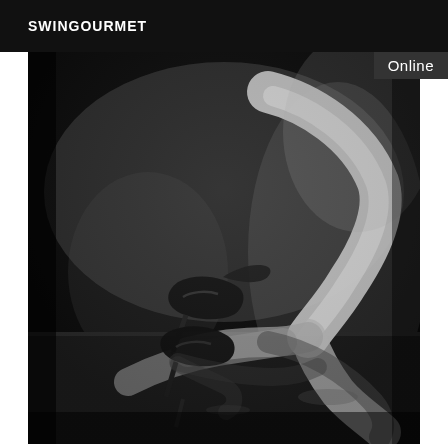SWINGOURMET
[Figure (photo): Black and white artistic photograph of female legs wearing high heels, posed on a reflective surface, with dramatic lighting and shadow.]
Online